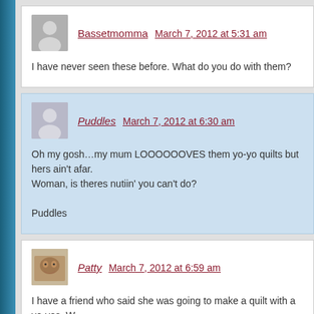Bassetmomma   March 7, 2012 at 5:31 am
I have never seen these before. What do you do with them?
Puddles   March 7, 2012 at 6:30 am
Oh my gosh…my mum LOOOOOOVES them yo-yo quilts but hers ain't afar.
Woman, is theres nutiin' you can't do?

Puddles
Patty   March 7, 2012 at 6:59 am
I have a friend who said she was going to make a quilt with a yo-yos. W